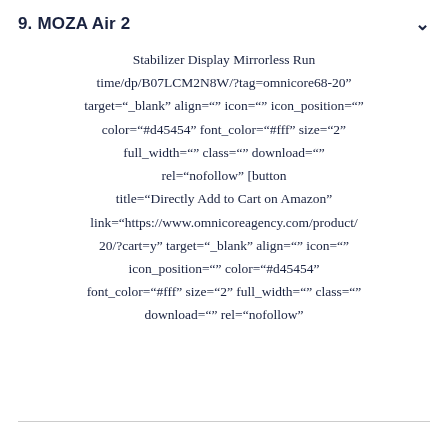9. MOZA Air 2
Stabilizer Display Mirrorless Run time/dp/B07LCM2N8W/?tag=omnicore68-20" target="_blank" align="" icon="" icon_position="" color="#d45454" font_color="#fff" size="2" full_width="" class="" download="" rel="nofollow" onclick=""] [button title="Directly Add to Cart on Amazon" link="https://www.omnicoreagency.com/product/ 20/?cart=y" target="_blank" align="" icon="" icon_position="" color="#d45454" font_color="#fff" size="2" full_width="" class="" download="" rel="nofollow" onclick=""]